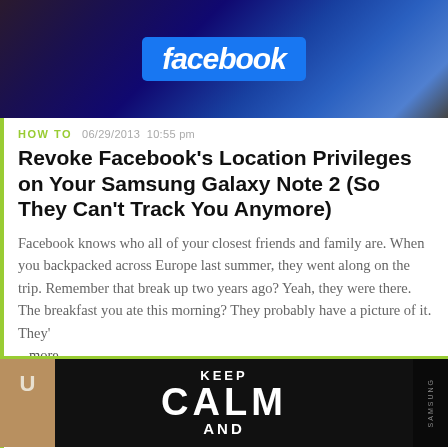[Figure (photo): Close-up photo of a blue Facebook logo/button on a dark background]
HOW TO   06/29/2013  10:55 pm
Revoke Facebook's Location Privileges on Your Samsung Galaxy Note 2 (So They Can't Track You Anymore)
Facebook knows who all of your closest friends and family are. When you backpacked across Europe last summer, they went along on the trip. Remember that break up two years ago? Yeah, they were there. The breakfast you ate this morning? They probably have a picture of it. They' ...more
[Figure (photo): Keep Calm and ... poster on a smartphone screen, with Samsung branding visible on right edge]
HOW TO   12/02/2013  10:55 pm
Prevent Friends from Snooping Through Your Galaxy